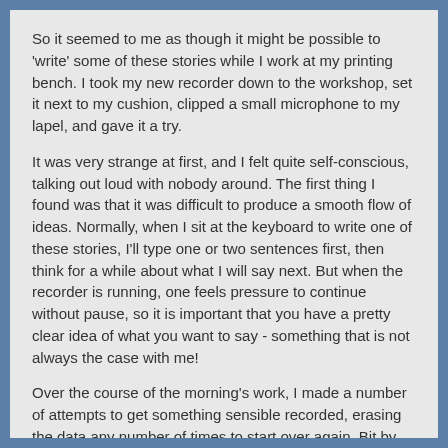So it seemed to me as though it might be possible to 'write' some of these stories while I work at my printing bench. I took my new recorder down to the workshop, set it next to my cushion, clipped a small microphone to my lapel, and gave it a try.
It was very strange at first, and I felt quite self-conscious, talking out loud with nobody around. The first thing I found was that it was difficult to produce a smooth flow of ideas. Normally, when I sit at the keyboard to write one of these stories, I'll type one or two sentences first, then think for a while about what I will say next. But when the recorder is running, one feels pressure to continue without pause, so it is important that you have a pretty clear idea of what you want to say - something that is not always the case with me!
Over the course of the morning's work, I made a number of attempts to get something sensible recorded, erasing the data any number of times to start over again. Bit by bit, it became easier to do, and after a couple of hours of practice, I started to become more relaxed and a bit more fluent.